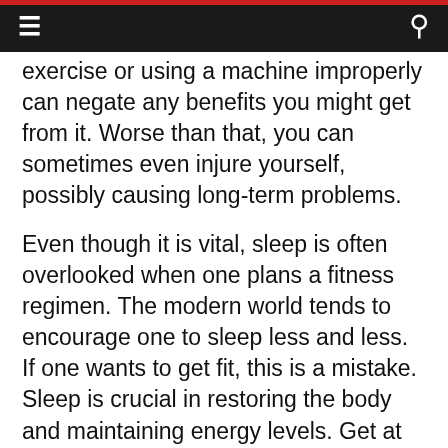Navigation bar with hamburger menu and search icon
exercise or using a machine improperly can negate any benefits you might get from it. Worse than that, you can sometimes even injure yourself, possibly causing long-term problems.
Even though it is vital, sleep is often overlooked when one plans a fitness regimen. The modern world tends to encourage one to sleep less and less. If one wants to get fit, this is a mistake. Sleep is crucial in restoring the body and maintaining energy levels. Get at least seven hours of sleep every night to stay fit and healthy.
A great way to help you become fit is to invest in a gym membership. It really doesn't compare to the options you have at the gym, although the...